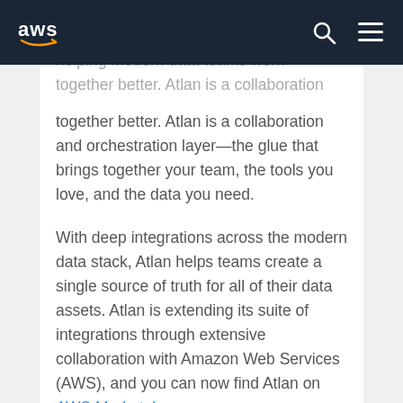AWS
helping modern data teams work together better. Atlan is a collaboration and orchestration layer—the glue that brings together your team, the tools you love, and the data you need.
With deep integrations across the modern data stack, Atlan helps teams create a single source of truth for all of their data assets. Atlan is extending its suite of integrations through extensive collaboration with Amazon Web Services (AWS), and you can now find Atlan on AWS Marketplace.